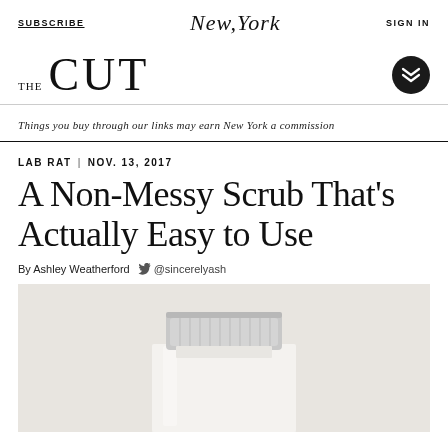SUBSCRIBE   New York   SIGN IN
THE CUT
Things you buy through our links may earn New York a commission
LAB RAT  |  NOV. 13, 2017
A Non-Messy Scrub That's Actually Easy to Use
By Ashley Weatherford  @sincerelyash
[Figure (photo): Top of a clear glass jar with a silver screw-on lid, photographed against a light grey/beige background]